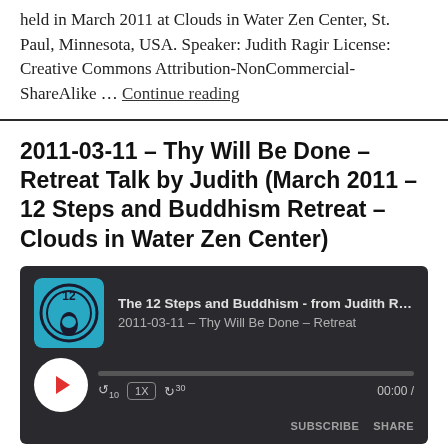held in March 2011 at Clouds in Water Zen Center, St. Paul, Minnesota, USA. Speaker: Judith Ragir License: Creative Commons Attribution-NonCommercial-ShareAlike ... Continue reading
2011-03-11 – Thy Will Be Done – Retreat Talk by Judith (March 2011 – 12 Steps and Buddhism Retreat – Clouds in Water Zen Center)
[Figure (screenshot): Podcast audio player widget with dark background showing episode '2011-03-11 - Thy Will Be Done - Retreat Talk' from 'The 12 Steps and Buddhism - from Judith Ragir'. Player shows play button, progress bar, skip back 10s, 1X speed, skip forward 30s controls, time display 00:00, with SUBSCRIBE and SHARE buttons.]
Download file | Play in new window | Recorded on 2011-03-11